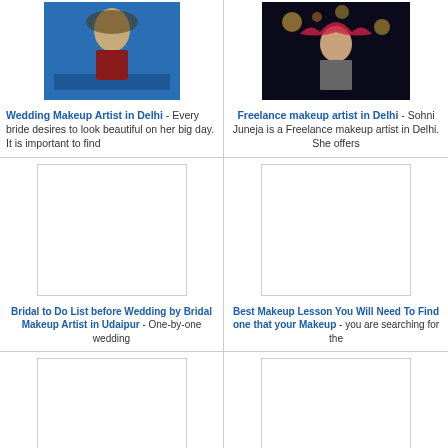[Figure (photo): Bride with wedding makeup, blue background]
Wedding Makeup Artist in Delhi - Every bride desires to look beautiful on her big day. It is important to find the right...
[Figure (photo): Woman with red dupatta under lights at night]
Freelance makeup artist in Delhi - Sohni Juneja is a Freelance makeup artist in Delhi. She offers the bridal makeup...
[Figure (photo): Blank white placeholder image]
Bridal to Do List before Wedding by Bridal Makeup Artist in Udaipur - One-by-one wedding...
[Figure (photo): Blank white placeholder image]
Best Makeup Lesson You Will Need To Find one that your Makeup - you are searching for the...
[Figure (photo): Blank white placeholder image]
Makeup artist in Lucknow | Stylz beauty salon - Stylz beauty salon have the best makeup artist and...
[Figure (photo): Blank white placeholder image]
Tips to Find the Perfect Bridal Makeup Artist - Finding the right makeup artist who is best for you and in this...